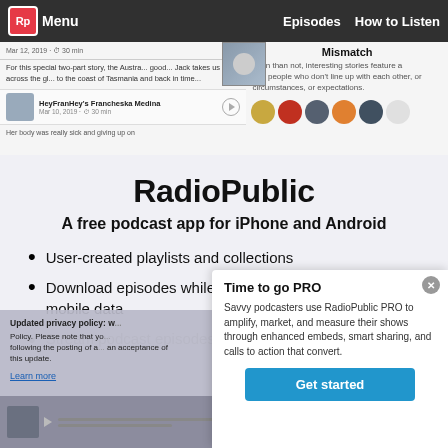[Figure (screenshot): RadioPublic app interface screenshot showing podcast listings and navigation bar with Rp logo, Menu, Episodes, How to Listen, and Mismatch podcast page]
RadioPublic
A free podcast app for iPhone and Android
User-created playlists and collections
Download episodes while on WiFi to listen without using mobile data
Stream podcast episodes without waiting for a
Updated privacy policy: w... Policy. Please note that yo... following the posting of a... this update. Learn more
Time to go PRO
Savvy podcasters use RadioPublic PRO to amplify, market, and measure their shows through enhanced embeds, smart sharing, and calls to action that convert.
Get started